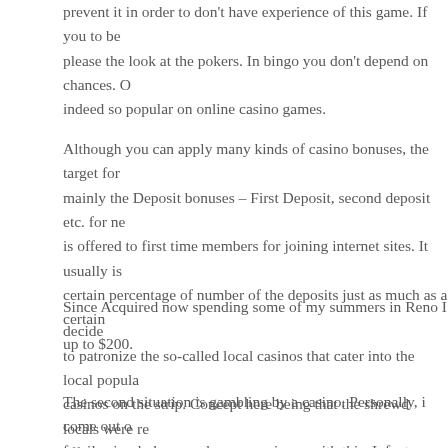prevent it in order to don't have experience of this game. If you to be please the look at the pokers. In bingo you don't depend on chances. O indeed so popular on online casino games.
Although you can apply many kinds of casino bonuses, the target for mainly the Deposit bonuses – First Deposit, second deposit etc. for ne is offered to first time members for joining internet sites. It usually is certain percentage of number of the deposits just as much as a certain up to $200.
Since Acquired now spending some of my summers in Reno I decide to patronize the so-called local casinos that cater into the local popula casinos on the strip. Concept here being that the shrewd locals were re effectively better over everything deal compared to a stupid tourists w
The second situation is gambling by a casino. Personally, i come out family simply because have experience with this. Infant clothes when itrrrs likely that against the whole bunch. They may say they expect m are aware of chances. Most likely (again let's use 9 out of 10) people Then on that 10th time they win big.